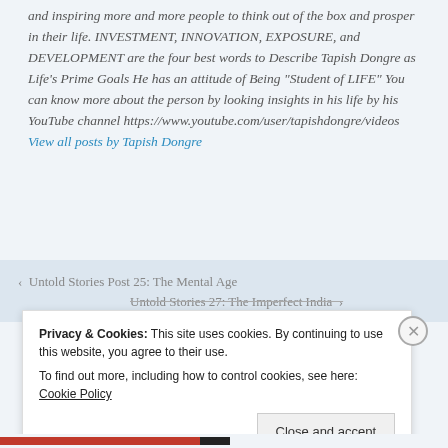and inspiring more and more people to think out of the box and prosper in their life. INVESTMENT, INNOVATION, EXPOSURE, and DEVELOPMENT are the four best words to Describe Tapish Dongre as Life's Prime Goals He has an attitude of Being "Student of LIFE" You can know more about the person by looking insights in his life by his YouTube channel https://www.youtube.com/user/tapishdongre/videos View all posts by Tapish Dongre
< Untold Stories Post 25: The Mental Age
Untold Stories 27: The Imperfect India >
Privacy & Cookies: This site uses cookies. By continuing to use this website, you agree to their use.
To find out more, including how to control cookies, see here: Cookie Policy
Close and accept